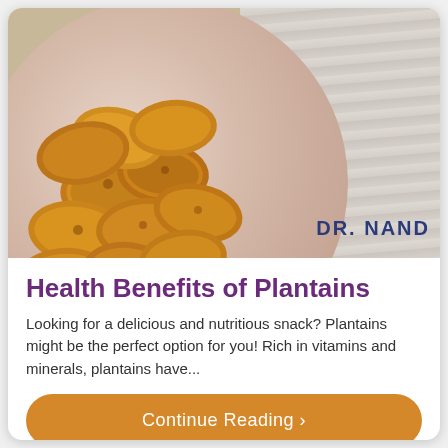[Figure (photo): Fried plantain chips piled on a pink plate on a light wood background, with DR. NAND watermark in bottom right of photo]
Health Benefits of Plantains
Looking for a delicious and nutritious snack? Plantains might be the perfect option for you! Rich in vitamins and minerals, plantains have...
Continue Reading >